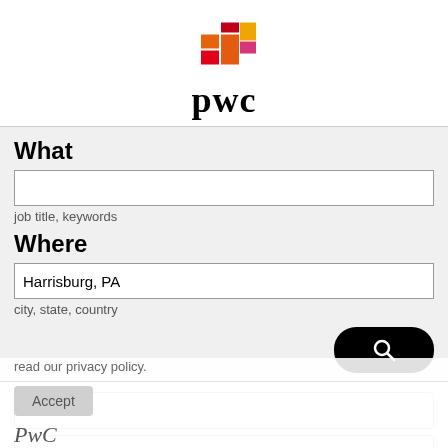[Figure (logo): PwC logo with coloured blocks (red, orange, yellow, pink) and 'pwc' text in bold serif]
What
job title, keywords
Where
Harrisburg, PA
city, state, country
Home
View All Jobs (36,608)
ove your experience on our site. To find out more, read our privacy policy.
Accept
PwC